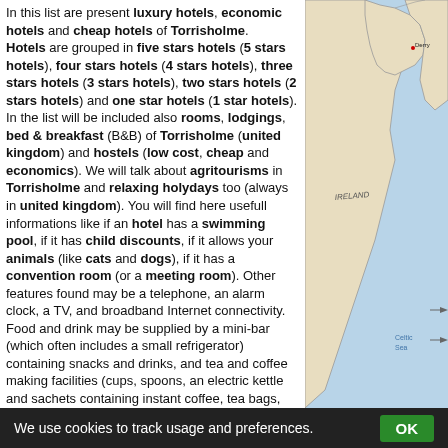In this list are present luxury hotels, economic hotels and cheap hotels of Torrisholme. Hotels are grouped in five stars hotels (5 stars hotels), four stars hotels (4 stars hotels), three stars hotels (3 stars hotels), two stars hotels (2 stars hotels) and one star hotels (1 star hotels). In the list will be included also rooms, lodgings, bed & breakfast (B&B) of Torrisholme (united kingdom) and hostels (low cost, cheap and economics). We will talk about agritourisms in Torrisholme and relaxing holydays too (always in united kingdom). You will find here usefull informations like if an hotel has a swimming pool, if it has child discounts, if it allows your animals (like cats and dogs), if it has a convention room (or a meeting room). Other features found may be a telephone, an alarm clock, a TV, and broadband Internet connectivity. Food and drink may be supplied by a mini-bar (which often includes a small refrigerator) containing snacks and drinks, and tea and coffee making facilities (cups, spoons, an electric kettle and sachets containing instant coffee, tea bags, sugar, and creamer or milk). You'll discover all Half Board Hotels in Torrisholme (united kingdom) or full board Hotels. You can chose your breakfast and dinner are taken care of through. For Torrisholme we will list not only hotels, but also a lot of other breakfast, Apartment hotels, Hotel chains, Resorts, Hostels, S. A Bed and Breakfast (often referred to as a B&B) is a type of ho...
[Figure (map): Map of Ireland and surrounding region showing coastlines and place names including 'IRELAND', 'Celtic Sea' label area visible on right side of page]
We use cookies to track usage and preferences. OK